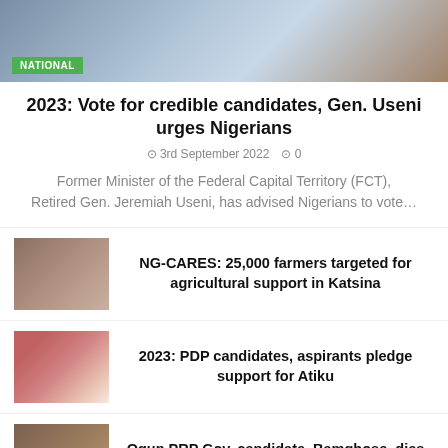[Figure (photo): Group of people in Nigerian attire with NATIONAL badge overlay]
2023: Vote for credible candidates, Gen. Useni urges Nigerians
3rd September 2022   0
Former Minister of the Federal Capital Territory (FCT), Retired Gen. Jeremiah Useni, has advised Nigerians to vote…
[Figure (photo): Crowd of people at an event]
NG-CARES: 25,000 farmers targeted for agricultural support in Katsina
[Figure (photo): Woman in red hijab at an event]
2023: PDP candidates, aspirants pledge support for Atiku
[Figure (photo): Man in traditional cap at a ceremony]
Ogun PRP Gov. candidate, Bamgbose, dies a week after declaration